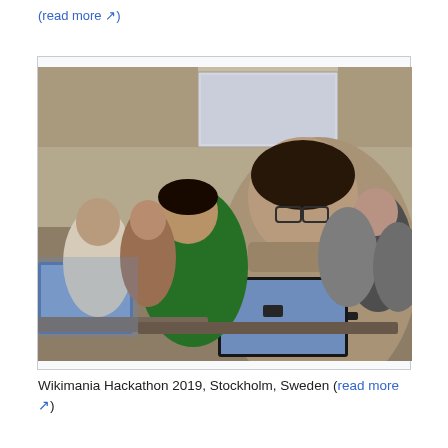(read more ↗)
[Figure (photo): Photo of the Wikimania Hackathon 2019 in Stockholm, Sweden. People are working on laptops at tables in a large conference room. A man in a tan shirt is prominently featured in the foreground working on a laptop. Others in the background include a person in a green shirt. A projection screen is visible in the background.]
Wikimania Hackathon 2019, Stockholm, Sweden (read more ↗)